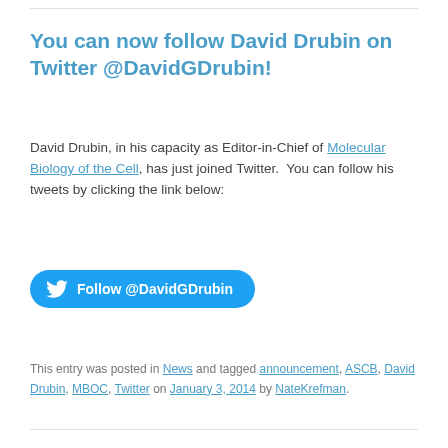You can now follow David Drubin on Twitter @DavidGDrubin!
David Drubin, in his capacity as Editor-in-Chief of Molecular Biology of the Cell, has just joined Twitter.  You can follow his tweets by clicking the link below:
[Figure (other): Blue Twitter follow button with Twitter bird icon and text 'Follow @DavidGDrubin']
This entry was posted in News and tagged announcement, ASCB, David Drubin, MBOC, Twitter on January 3, 2014 by NateKrefman.